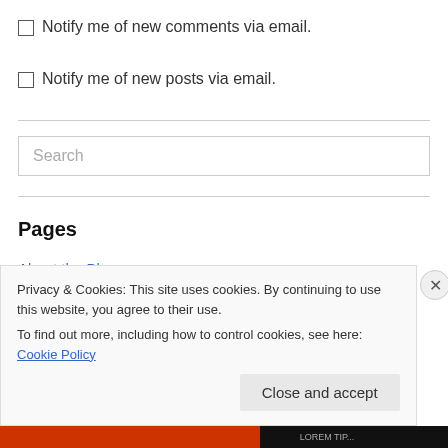Notify me of new comments via email.
Notify me of new posts via email.
Search
Pages
About the Blog
Who's LanceAround?
Privacy & Cookies: This site uses cookies. By continuing to use this website, you agree to their use.
To find out more, including how to control cookies, see here: Cookie Policy
Close and accept